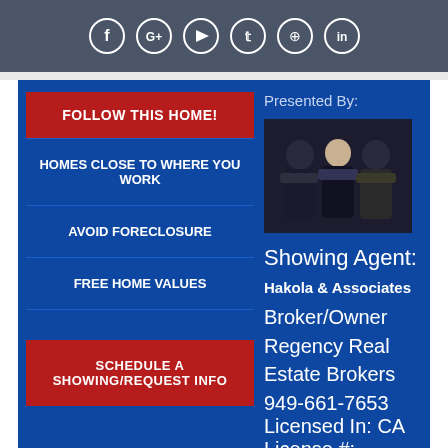[Figure (other): Social media icons row: Facebook, Google+, YouTube, Twitter, Pinterest, LinkedIn in circles on dark gray bar]
FOLLOW THIS HOME!
HOMES CLOSE TO WHERE YOU WORK
AVOID FORECLOSURE
FREE HOME VALUES
SCHEDULE A SHOWING/REQUEST INFO
Presented By:
[Figure (photo): Photo of three real estate agents in formal attire against dark background]
Showing Agent:
Hakola & Associates
Broker/Owner
Regency Real Estate Brokers
949-661-7653
Licensed In: CA
License #: Br01418450